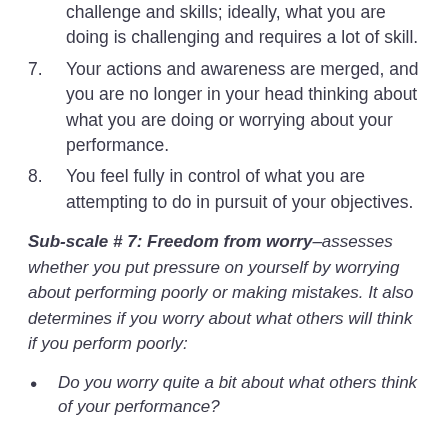challenge and skills; ideally, what you are doing is challenging and requires a lot of skill.
7. Your actions and awareness are merged, and you are no longer in your head thinking about what you are doing or worrying about your performance.
8. You feel fully in control of what you are attempting to do in pursuit of your objectives.
Sub-scale # 7: Freedom from worry–assesses whether you put pressure on yourself by worrying about performing poorly or making mistakes. It also determines if you worry about what others will think if you perform poorly:
Do you worry quite a bit about what others think of your performance?